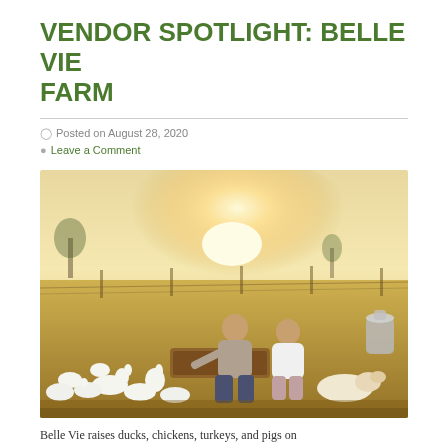VENDOR SPOTLIGHT: BELLE VIE FARM
Posted on August 28, 2020
Leave a Comment
[Figure (photo): A couple sitting on a farm field feeding white ducks, geese and turkeys from a wooden trough, with a white dog lying nearby and a bright sunburst in the background, open pasture and fence visible.]
Belle Vie raises ducks, chickens, turkeys, and pigs on